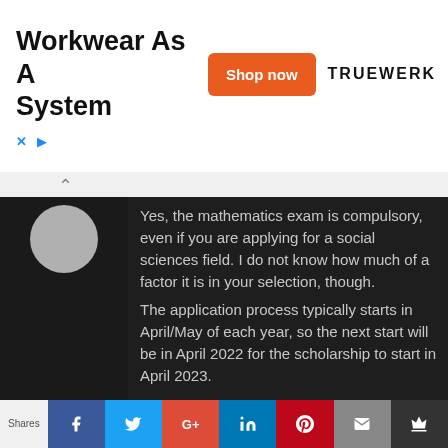[Figure (other): Advertisement banner: 'Workwear As A System' with orange 'Shop now' button and TRUEWERK logo]
Yes, the mathematics exam is compulsory, even if you are applying for a social sciences field. I do not know how much of a factor it is in your selection, though.
The application process typically starts in April/May of each year, so the next start will be in April 2022 for the scholarship to start in April 2023.

Good Luck!
– Travis from TranSenz
Shares  [Facebook] [Twitter] [Google+] [LinkedIn] [Pinterest] [Email] [More]